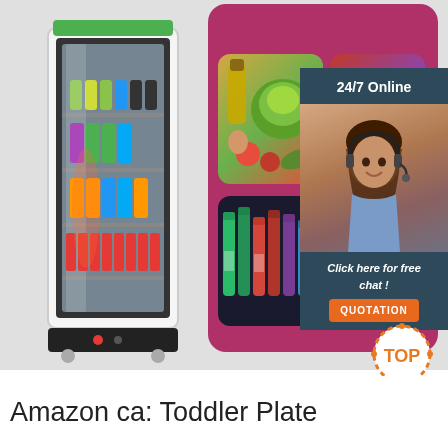[Figure (photo): Composite product/advertisement image showing a glass-door commercial beverage refrigerator on the left, a pink-background panel with food/product photos in the center, and a customer service chat widget on the right with '24/7 Online', 'Click here for free chat!', and a 'QUOTATION' button, plus a TOP badge at the bottom right.]
Amazon ca: Toddler Plate